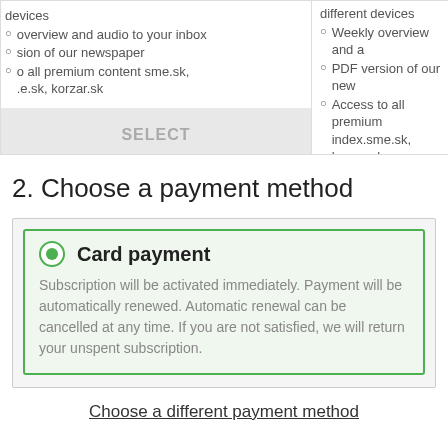devices
overview and audio to your inbox
sion of our newspaper
o all premium content sme.sk, .e.sk, korzar.sk
different devices
Weekly overview and a
PDF version of our new
Access to all premium index.sme.sk, korzar.sk
2. Choose a payment method
Card payment
Subscription will be activated immediately. Payment will be automatically renewed. Automatic renewal can be cancelled at any time. If you are not satisfied, we will return your unspent subscription.
Choose a different payment method